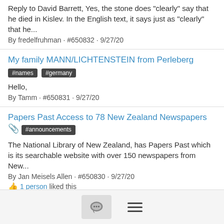Re: Hebrew Translation of Gravestone - ROSENBERG, NATHAN (NISEL) #translation
Reply to David Barrett, Yes, the stone does "clearly" say that he died in Kislev. In the English text, it says just as "clearly" that he...
By fredelfruhman · #650832 · 9/27/20
My family MANN/LICHTENSTEIN from Perleberg #names #germany
Hello,
By Tamm · #650831 · 9/27/20
Papers Past Access to 78 New Zealand Newspapers 📎 #announcements
The National Library of New Zealand, has Papers Past which is its searchable website with over 150 newspapers from New...
By Jan Meisels Allen · #650830 · 9/27/20
1 person liked this
Re: Hebrew Translation of Gravestone - ROSENBERG, NATHAN (NISEL) #translation
FREDEL, THANK YOU AGAIN FOR YOUR HELP. I called my...